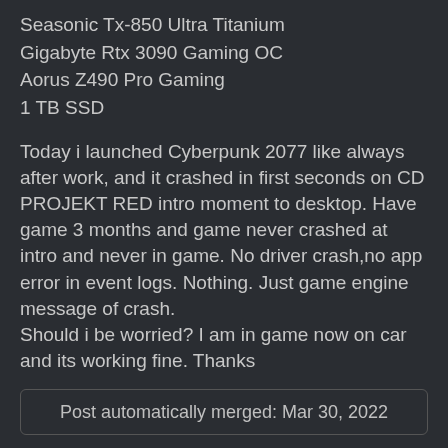Seasonic Tx-850 Ultra Titanium
Gigabyte Rtx 3090 Gaming OC
Aorus Z490 Pro Gaming
1 TB SSD
Today i launched Cyberpunk 2077 like always after work, and it crashed in first seconds on CD PROJEKT RED intro moment to desktop. Have game 3 months and game never crashed at intro and never in game. No driver crash,no app error in event logs. Nothing. Just game engine message of crash.
Should i be worried? I am in game now on car and its working fine. Thanks
Post automatically merged: Mar 30, 2022